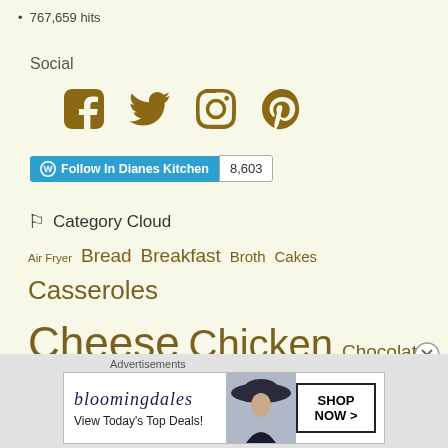767,659 hits
Social
[Figure (infographic): Social media icons: Facebook, Twitter, Instagram, Pinterest in brown/gold color]
[Figure (infographic): WordPress Follow button 'Follow In Dianes Kitchen' in blue with follower count 8,603]
Category Cloud
Air Fryer Bread Breakfast Broth Cakes Casseroles Cheese Chicken Chocolate Cookies Desserts Eggs Fruit Ground Beef Milk Products Pasta Pies Pizza Pork/Ham Potato Salad/Dressings Sauces Sausage/Kielbasa Seafood Slow Cooker
Advertisements
[Figure (photo): Bloomingdale's advertisement: 'View Today's Top Deals!' with woman in large hat and SHOP NOW > button]